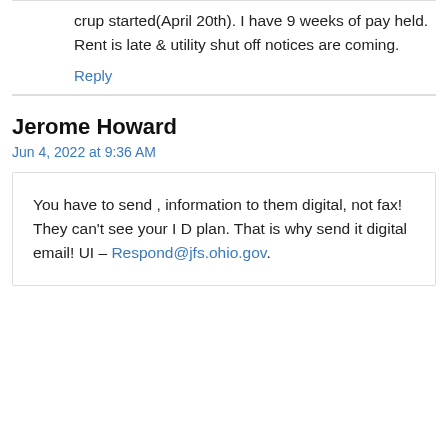crup started(April 20th). I have 9 weeks of pay held. Rent is late & utility shut off notices are coming.
Reply
Jerome Howard
Jun 4, 2022 at 9:36 AM
You have to send , information to them digital, not fax! They can't see your I D plan. That is why send it digital email! UI – Respond@jfs.ohio.gov.